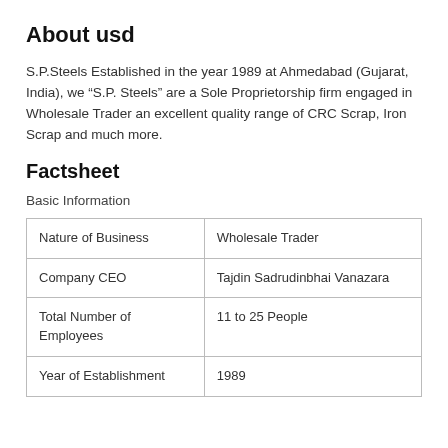About usd
S.P.Steels Established in the year 1989 at Ahmedabad (Gujarat, India), we “S.P. Steels” are a Sole Proprietorship firm engaged in Wholesale Trader an excellent quality range of CRC Scrap, Iron Scrap and much more.
Factsheet
Basic Information
| Nature of Business | Wholesale Trader |
| Company CEO | Tajdin Sadrudinbhai Vanazara |
| Total Number of Employees | 11 to 25 People |
| Year of Establishment | 1989 |